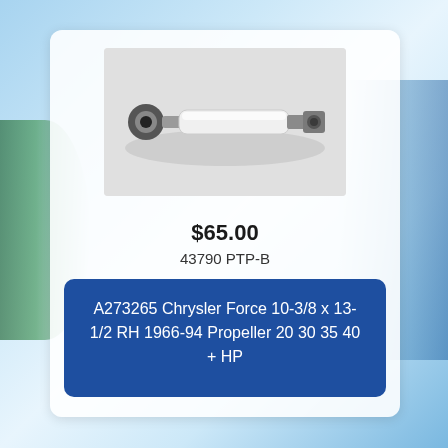[Figure (photo): White cylindrical marine part (propeller or hydraulic component) with metal end fittings, one circular eye fitting on left and a flat bracket on right, photographed on light grey background.]
$65.00
43790 PTP-B
A273265 Chrysler Force 10-3/8 x 13-1/2 RH 1966-94 Propeller 20 30 35 40 + HP